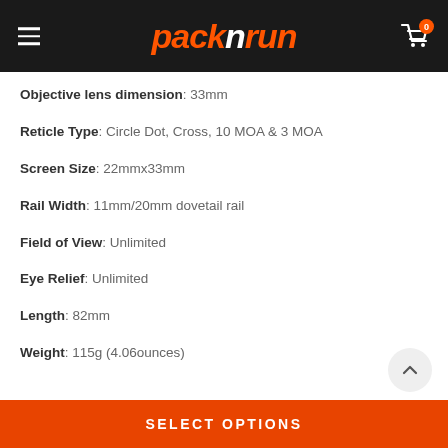packnrun
Objective lens dimension: 33mm
Reticle Type: Circle Dot, Cross, 10 MOA & 3 MOA
Screen Size: 22mmx33mm
Rail Width: 11mm/20mm dovetail rail
Field of View: Unlimited
Eye Relief: Unlimited
Length: 82mm
Weight: 115g (4.06ounces)
SELECT OPTIONS